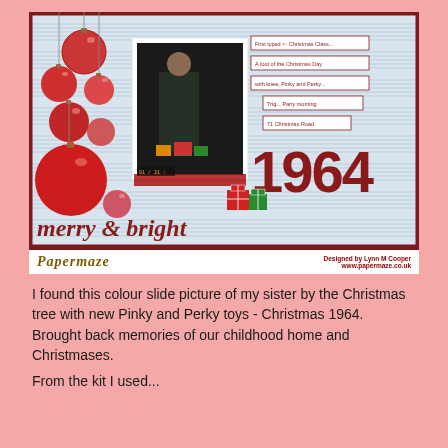[Figure (photo): Scrapbook layout page with Christmas theme. Features red ornaments on the left side, a dark photograph of a child by a Christmas tree in the center, label tags on the right with text about Christmas 1964, the number '1964' in large dark red numerals, and 'merry & bright' in italic script at the bottom. Music sheet paper background. Bottom has Papermaze logo and 'Designed by Lynn M Cooper www.papermaze.co.uk'.]
I found this colour slide picture of my sister by the Christmas tree with new Pinky and Perky toys - Christmas 1964. Brought back memories of our childhood home and Christmases.
From the kit I used...